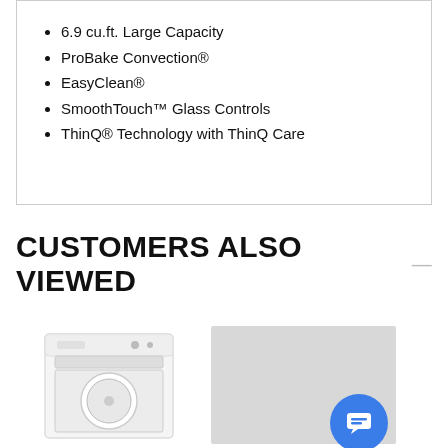6.9 cu.ft. Large Capacity
ProBake Convection®
EasyClean®
SmoothTouch™ Glass Controls
ThinQ® Technology with ThinQ Care
CUSTOMERS ALSO VIEWED
[Figure (photo): Top-load washing machine, white, front view]
[Figure (photo): Gray placeholder card with chat bubble icon overlay]